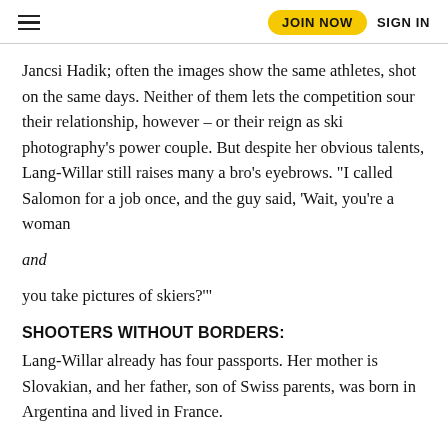JOIN NOW  SIGN IN
Jancsi Hadik; often the images show the same athletes, shot on the same days. Neither of them lets the competition sour their relationship, however – or their reign as ski photography's power couple. But despite her obvious talents, Lang-Willar still raises many a bro's eyebrows. "I called Salomon for a job once, and the guy said, 'Wait, you're a woman
and
you take pictures of skiers?'"
SHOOTERS WITHOUT BORDERS:
Lang-Willar already has four passports. Her mother is Slovakian, and her father, son of Swiss parents, was born in Argentina and lived in France.